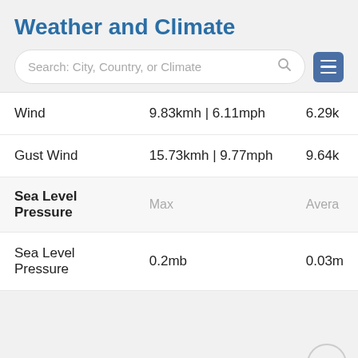Weather and Climate
[Figure (screenshot): Search bar with placeholder text 'Search: City, Country, or Climate' and a hamburger menu button]
|  | Max | Average |
| --- | --- | --- |
| Wind | 9.83kmh | 6.11mph | 6.29k |
| Gust Wind | 15.73kmh | 9.77mph | 9.64k |
| Sea Level Pressure | Max | Average |
| Sea Level Pressure | 0.2mb | 0.03m |
November 2011 Graph